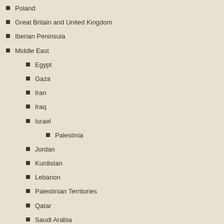Poland
Great Britain and United Kingdom
Iberian Peninsula
Middle East
Egypt
Gaza
Iran
Iraq
Israel
Palestinia
Jordan
Kurdistan
Lebanon
Palestinian Territories
Qatar
Saudi Arabia
Syria
United Arab Emirates